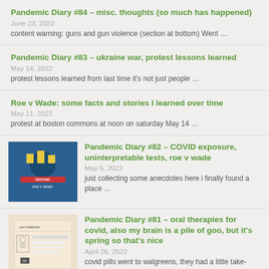Pandemic Diary #84 – misc. thoughts (so much has happened)
June 23, 2022
content warning: guns and gun violence (section at bottom) Went …
Pandemic Diary #83 – ukraine war, protest lessons learned
May 14, 2022
protest lessons learned from last time it's not just people …
Roe v Wade: some facts and stories I learned over time
May 11, 2022
protest at boston commons at noon on saturday May 14 …
Pandemic Diary #82 – COVID exposure, uninterpretable tests, roe v wade
May 5, 2022
just collecting some anecdotes here i finally found a place …
Pandemic Diary #81 – oral therapies for covid, also my brain is a pile of goo, but it's spring so that's nice
April 26, 2022
covid pills went to walgreens, they had a little take-away …
Pandemic Diary #80 – ith…